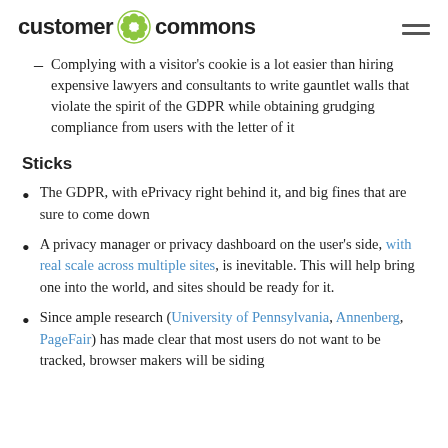customer commons
Complying with a visitor's cookie is a lot easier than hiring expensive lawyers and consultants to write gauntlet walls that violate the spirit of the GDPR while obtaining grudging compliance from users with the letter of it
Sticks
The GDPR, with ePrivacy right behind it, and big fines that are sure to come down
A privacy manager or privacy dashboard on the user's side, with real scale across multiple sites, is inevitable. This will help bring one into the world, and sites should be ready for it.
Since ample research (University of Pennsylvania, Annenberg, PageFair) has made clear that most users do not want to be tracked, browser makers will be siding